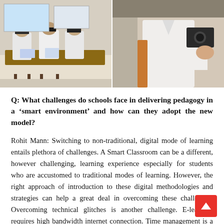[Figure (photo): Two side-by-side classroom photos. Left: students in white shirts sitting at desks viewed from behind in a classroom. Right: a person in white shirt holding what appears to be a device, partial view.]
Q: What challenges do schools face in delivering pedagogy in a ‘smart environment’ and how can they adopt the new model?
Rohit Mann: Switching to non-traditional, digital mode of learning entails plethora of challenges. A Smart Classroom can be a different, however challenging, learning experience especially for students who are accustomed to traditional modes of learning. However, the right approach of introduction to these digital methodologies and strategies can help a great deal in overcoming these challenges. Overcoming technical glitches is another challenge. E-learning requires high bandwidth internet connection. Time management is a difficult task for e-Learners, as online courses require a lot of